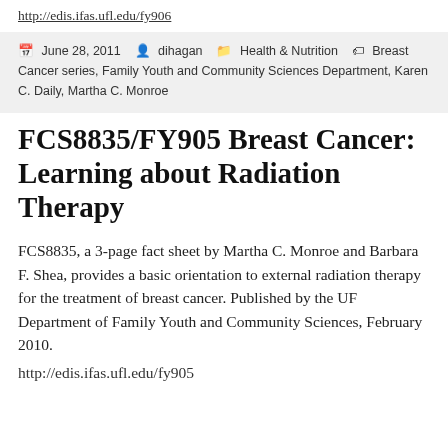http://edis.ifas.ufl.edu/fy906
June 28, 2011  dihagan  Health & Nutrition  Breast Cancer series, Family Youth and Community Sciences Department, Karen C. Daily, Martha C. Monroe
FCS8835/FY905 Breast Cancer: Learning about Radiation Therapy
FCS8835, a 3-page fact sheet by Martha C. Monroe and Barbara F. Shea, provides a basic orientation to external radiation therapy for the treatment of breast cancer. Published by the UF Department of Family Youth and Community Sciences, February 2010.
http://edis.ifas.ufl.edu/fy905